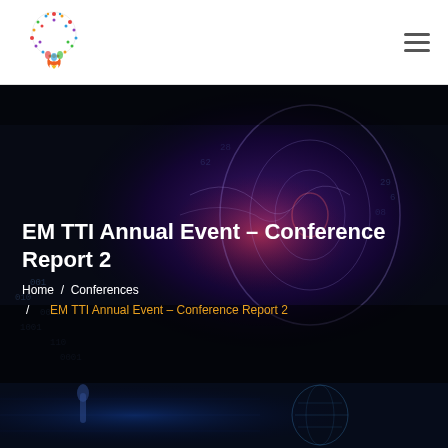EM TTI logo and navigation menu
EM TTI Annual Event – Conference Report 2
Home / Conferences / EM TTI Annual Event – Conference Report 2
[Figure (photo): Digital human head with glowing neural network and binary code background — hero banner image]
[Figure (photo): Bottom strip showing a person at a conference with microphone and technology background]